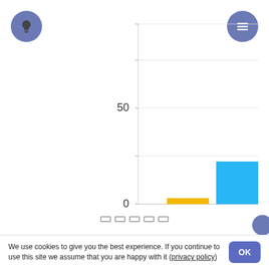[Figure (bar-chart): ]
We use cookies to give you the best experience. If you continue to use this site we assume that you are happy with it (privacy policy)